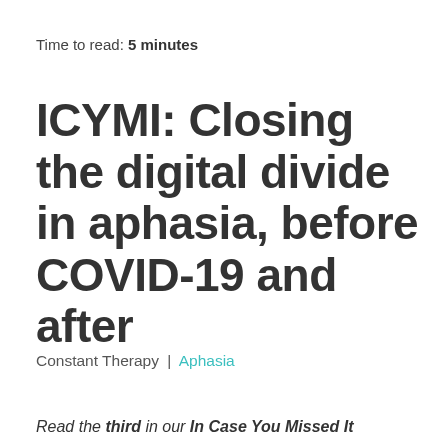Time to read: 5 minutes
ICYMI: Closing the digital divide in aphasia, before COVID-19 and after
Constant Therapy | Aphasia
Read the third in our In Case You Missed It